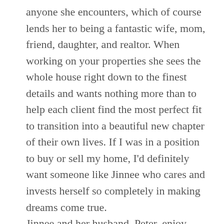anyone she encounters, which of course lends her to being a fantastic wife, mom, friend, daughter, and realtor. When working on your properties she sees the whole house right down to the finest details and wants nothing more than to help each client find the most perfect fit to transition into a beautiful new chapter of their own lives. If I was in a position to buy or sell my home, I'd definitely want someone like Jinnee who cares and invests herself so completely in making dreams come true.
Jinnee and her husband, Peter, enjoy many of the family-oriented activities  the Rogue Valley has to offer with their daughter, such as hiking, the Britt Festival, eating sushi,